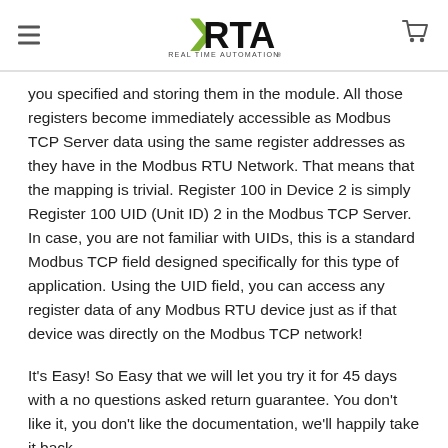RTA REAL TIME AUTOMATION
you specified and storing them in the module. All those registers become immediately accessible as Modbus TCP Server data using the same register addresses as they have in the Modbus RTU Network. That means that the mapping is trivial. Register 100 in Device 2 is simply Register 100 UID (Unit ID) 2 in the Modbus TCP Server. In case, you are not familiar with UIDs, this is a standard Modbus TCP field designed specifically for this type of application. Using the UID field, you can access any register data of any Modbus RTU device just as if that device was directly on the Modbus TCP network!
It’s Easy! So Easy that we will let you try it for 45 days with a no questions asked return guarantee. You don’t like it, you don’t like the documentation, we’ll happily take it back.